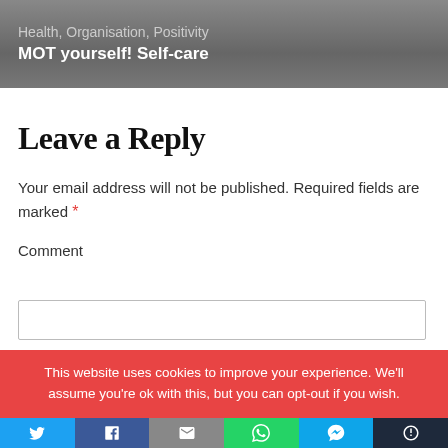Health, Organisation, Positivity
MOT yourself! Self-care
Leave a Reply
Your email address will not be published. Required fields are marked *
Comment
This website uses cookies to improve your experience. We'll assume you're ok with this, but you can opt-out if you wish.
[Figure (other): Social share buttons: Twitter, Facebook, Email, WhatsApp, SMS, More]